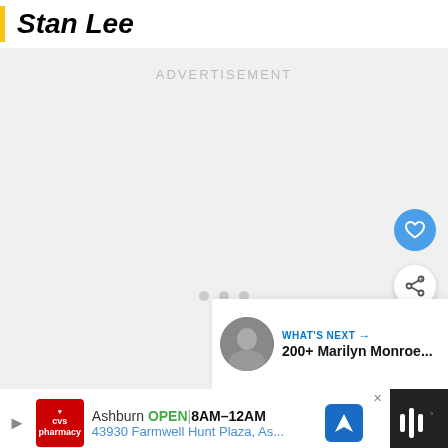Stan Lee
[Figure (other): Advertisement placeholder area with 'ADVERTISEMENT' label, three loading dots, a blue heart FAB button, a white share FAB button, and a 'WHAT'S NEXT' card showing '200+ Marilyn Monroe...']
[Figure (other): Bottom banner advertisement: CVS Pharmacy logo, Ashburn OPEN 8AM-12AM, 43930 Farmwell Hunt Plaza, As..., navigation icon, and app icon area]